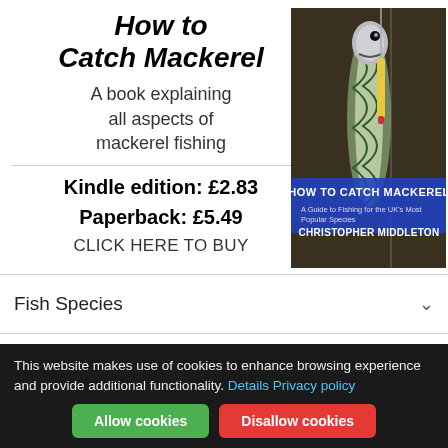How to Catch Mackerel
A book explaining all aspects of mackerel fishing
Kindle edition: £2.83
Paperback: £5.49
CLICK HERE TO BUY
[Figure (photo): Book cover of 'How to Catch Mackerel' by Christopher Middleton showing a mackerel fish with a fishing lure, with overlay text: HOW TO CATCH MACKEREL, A Guide to Fishing for the UK's Most Popular Species, CHRISTOPHER MIDDLETON]
Fish Species
Bait
This website makes use of cookies to enhance browsing experience and provide additional functionality. Details Privacy policy
Allow cookies
Disallow cookies